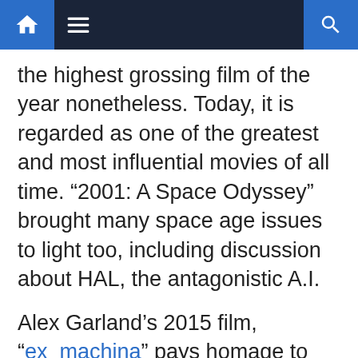Navigation bar with home, menu, and search icons
the highest grossing film of the year nonetheless. Today, it is regarded as one of the greatest and most influential movies of all time. “2001: A Space Odyssey” brought many space age issues to light too, including discussion about HAL, the antagonistic A.I.
Alex Garland’s 2015 film, “ex_machina” pays homage to 2001 by using HAL’s iconic, red interface near the beginning of the movie to foreshadow the duplicitous